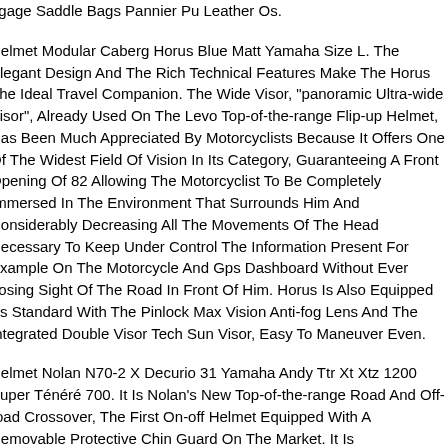ggage Saddle Bags Pannier Pu Leather Os.
Helmet Modular Caberg Horus Blue Matt Yamaha Size L. The Elegant Design And The Rich Technical Features Make The Horus The Ideal Travel Companion. The Wide Visor, "panoramic Ultra-wide Visor", Already Used On The Levo Top-of-the-range Flip-up Helmet, Has Been Much Appreciated By Motorcyclists Because It Offers One Of The Widest Field Of Vision In Its Category, Guaranteeing A Front Opening Of 82 Allowing The Motorcyclist To Be Completely Immersed In The Environment That Surrounds Him And Considerably Decreasing All The Movements Of The Head Necessary To Keep Under Control The Information Present For Example On The Motorcycle And Gps Dashboard Without Ever Losing Sight Of The Road In Front Of Him. Horus Is Also Equipped As Standard With The Pinlock Max Vision Anti-fog Lens And The Integrated Double Visor Tech Sun Visor, Easy To Maneuver Even.
Helmet Nolan N70-2 X Decurio 31 Yamaha Andy Ttr Xt Xtz 1200 Super Ténéré 700. It Is Nolan's New Top-of-the-range Road And Off-road Crossover, The First On-off Helmet Equipped With A Removable Protective Chin Guard On The Market. It Is Characterized By Off-road-inspired Design, Rich Technical Features And Good Availability Of Colors And Graphics. Low Volume (thanks To The Availability Of Two Outer Shell Sizes), Double P J Homologation, Ultrawide Visor, Particularly Large Porthole Compatible With